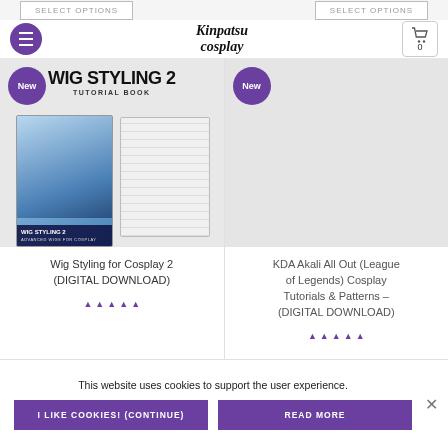Kinpatsu Cosplay — navigation header with hamburger menu and cart icon showing 0
[Figure (screenshot): Product card for Wig Styling for Cosplay 2 Tutorial Book showing book cover with character and pages fanned out, with 'New' badge]
Wig Styling for Cosplay 2 (DIGITAL DOWNLOAD)
[Figure (screenshot): Product card for KDA Akali All Out (League of Legends) Cosplay Tutorials & Patterns – (DIGITAL DOWNLOAD) with 'New' badge, image area shows grey placeholder]
KDA Akali All Out (League of Legends) Cosplay Tutorials & Patterns – (DIGITAL DOWNLOAD)
This website uses cookies to support the user experience.
I LIKE COOKIES! (CONTINUE)
READ MORE